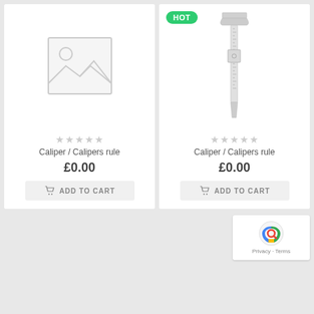[Figure (photo): Placeholder image with grey mountain/sun icon]
[Figure (photo): Photo of a caliper/calipers rule measuring tool with HOT badge]
★★★★★
Caliper / Calipers rule
£0.00
ADD TO CART
★★★★★
Caliper / Calipers rule
£0.00
ADD TO CART
[Figure (logo): reCAPTCHA badge with Privacy · Terms text]